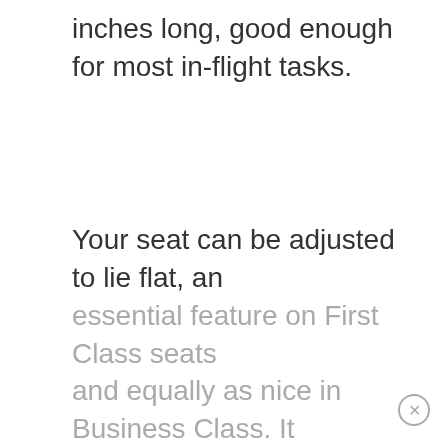inches long, good enough for most in-flight tasks.
Your seat can be adjusted to lie flat, an essential feature on First Class seats and equally as nice in Business Class. It